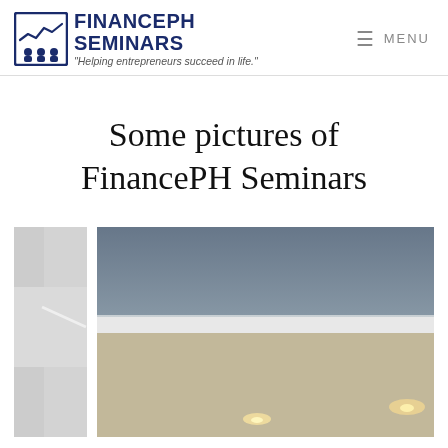FINANCEPH SEMINARS — "Helping entrepreneurs succeed in life." | MENU
Some pictures of FinancePH Seminars
[Figure (photo): Two photos partially visible: left photo shows a bright interior cropped narrow, right photo shows a seminar/event venue interior with dropped ceiling, recessed lighting, and large open hall space.]